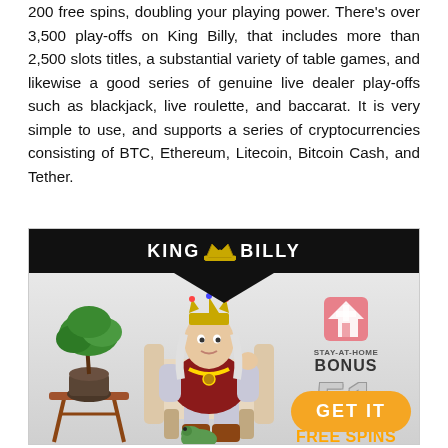200 free spins, doubling your playing power. There's over 3,500 play-offs on King Billy, that includes more than 2,500 slots titles, a substantial variety of table games, and likewise a good series of genuine live dealer play-offs such as blackjack, live roulette, and baccarat. It is very simple to use, and supports a series of cryptocurrencies consisting of BTC, Ethereum, Litecoin, Bitcoin Cash, and Tether.
[Figure (illustration): King Billy Casino advertisement banner with dark header showing 'KING BILLY' logo with crown, and a promotional image of a king character sitting in a chair with a bonsai tree on the left, and text promoting '51 FREE SPINS EVERY DAY' as a Stay-At-Home Bonus, with an orange 'GET IT' button.]